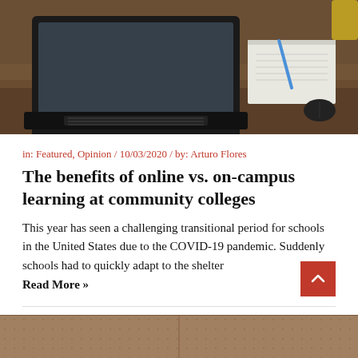[Figure (photo): Laptop computer on a wooden desk with a notepad, pen, and mouse in the background]
in: Featured, Opinion / 10/03/2020 / by: Arturo Flores
The benefits of online vs. on-campus learning at community colleges
This year has seen a challenging transitional period for schools in the United States due to the COVID-19 pandemic. Suddenly schools had to quickly adapt to the shelter Read More »
[Figure (photo): Person (student or teacher) photographed from below chin level in front of a brown/tan background]